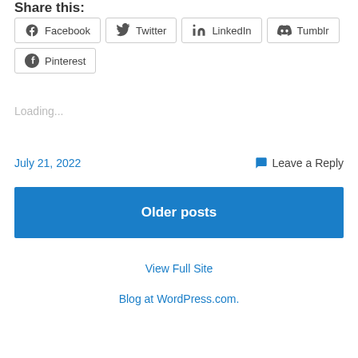Share this:
[Figure (other): Social sharing buttons: Facebook, Twitter, LinkedIn, Tumblr, Pinterest]
Loading...
July 21, 2022   Leave a Reply
Older posts
View Full Site
Blog at WordPress.com.